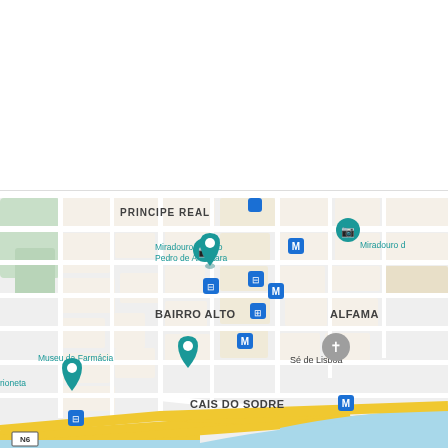[Figure (map): Google Maps view of central Lisbon, Portugal, showing neighborhoods PRINCIPE REAL, BAIRRO ALTO, ALFAMA, and CAIS DO SODRE. Points of interest include Miradouro de São Pedro de Alcântara, Museu da Farmácia, and Sé de Lisboa. Metro stations (M) and tram stops are marked with blue icons. Road N6 is labeled at bottom left. The Tagus river (blue water) is visible at the bottom right.]